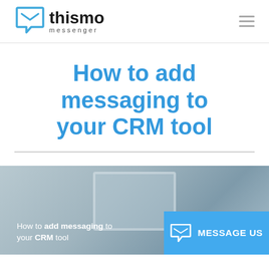thismo messenger
How to add messaging to your CRM tool
[Figure (screenshot): Screenshot of a webpage showing 'How to add messaging to your CRM tool' with a laptop in a blurred office background. Overlaid in bottom-right is a blue 'MESSAGE US' button with an envelope icon. Text overlay reads: How to add messaging to your CRM tool.]